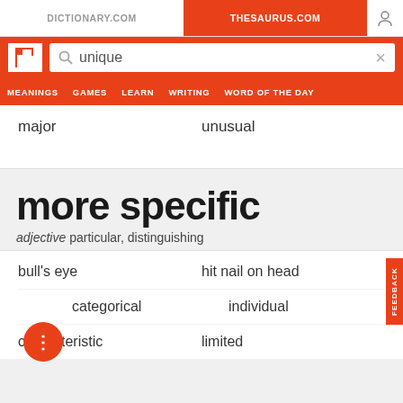DICTIONARY.COM | THESAURUS.COM
[Figure (screenshot): Thesaurus.com logo T in white box]
unique
MEANINGS  GAMES  LEARN  WRITING  WORD OF THE DAY
major	unusual
more specific
adjective particular, distinguishing
bull's eye	hit nail on head
categorical	individual
characteristic	limited